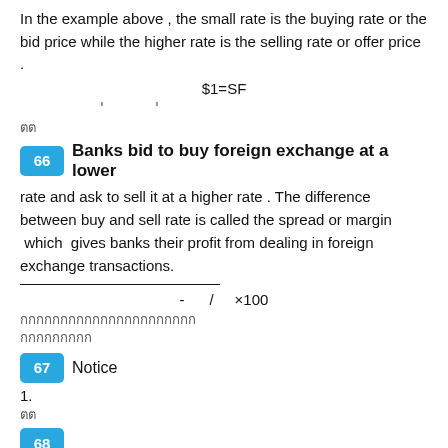In the example above , the small rate is the buying rate or the bid price while the higher rate is the selling rate or offer price .
ꞌ  ꞌ
ตต
66  Banks bid to buy foreign exchange at a lower
rate and ask to sell it at a higher rate . The difference between buy and sell rate is called the spread or margin  which  gives banks their profit from dealing in foreign exchange transactions.
กกกกกกกกกกกกกกกกกกกกกก
กกกกกกกกก
67  Notice
1.
ตต
68
1.
กกกกกกกกกกกก